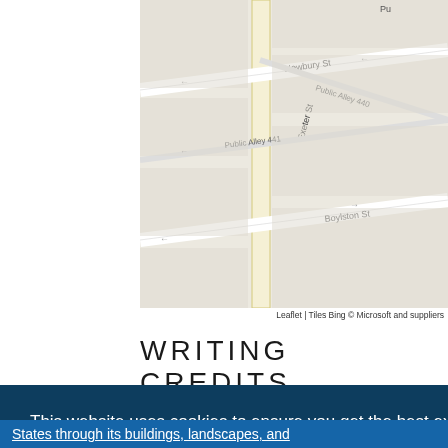[Figure (map): Street map showing Newbury St, Exeter St, Public Alley 440, Public Alley 441, and Boylston St in Boston. Map tile credit: Leaflet | Tiles Bing © Microsoft and suppliers.]
Leaflet | Tiles Bing © Microsoft and suppliers
WRITING CREDITS
This website uses cookies to ensure you get the best experience on our website.
Got it!
ou,
d
States through its buildings, landscapes, and